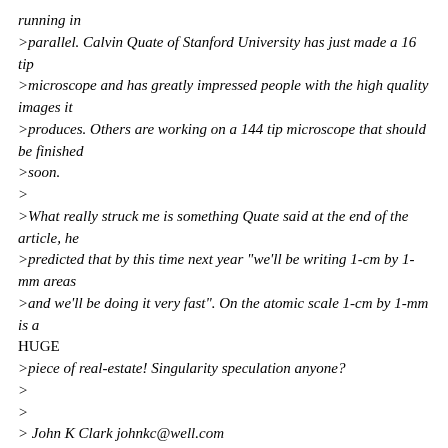running in
>parallel. Calvin Quate of Stanford University has just made a 16 tip
>microscope and has greatly impressed people with the high quality images it
>produces. Others are working on a 144 tip microscope that should be finished
>soon.
>
>What really struck me is something Quate said at the end of the article, he
>predicted that by this time next year "we'll be writing 1-cm by 1-mm areas
>and we'll be doing it very fast". On the atomic scale 1-cm by 1-mm is a
HUGE
>piece of real-estate! Singularity speculation anyone?
>
>
> John K Clark johnkc@well.com
John, would you please give me permission to post this post on the current
HotWired Brain Tennis thread about nano? That thread REALLY needs to start